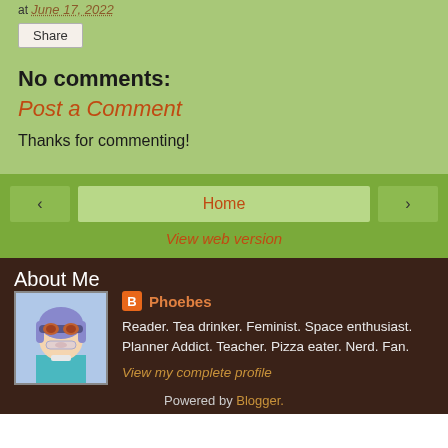at June 17, 2022
Share
No comments:
Post a Comment
Thanks for commenting!
‹  Home  ›
View web version
About Me
[Figure (illustration): Anime-style character with purple hair and goggles, Funko Pop style avatar]
Phoebes
Reader. Tea drinker. Feminist. Space enthusiast. Planner Addict. Teacher. Pizza eater. Nerd. Fan.
View my complete profile
Powered by Blogger.